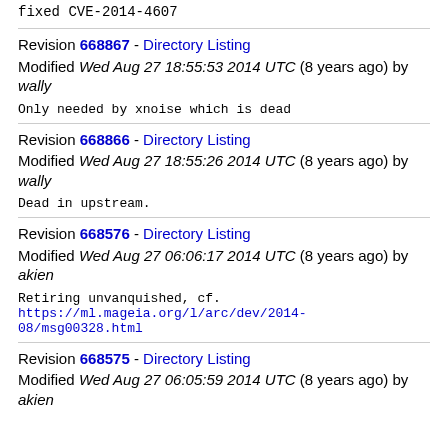fixed CVE-2014-4607
Revision 668867 - Directory Listing
Modified Wed Aug 27 18:55:53 2014 UTC (8 years ago) by wally
Only needed by xnoise which is dead
Revision 668866 - Directory Listing
Modified Wed Aug 27 18:55:26 2014 UTC (8 years ago) by wally
Dead in upstream.
Revision 668576 - Directory Listing
Modified Wed Aug 27 06:06:17 2014 UTC (8 years ago) by akien
Retiring unvanquished, cf.
https://ml.mageia.org/l/arc/dev/2014-08/msg00328.html
Revision 668575 - Directory Listing
Modified Wed Aug 27 06:05:59 2014 UTC (8 years ago) by akien